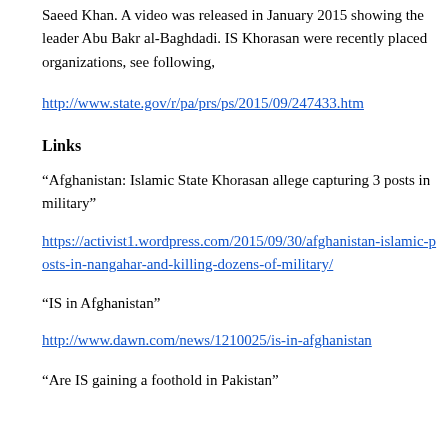Saeed Khan. A video was released in January 2015 showing the leader Abu Bakr al-Baghdadi. IS Khorasan were recently placed organizations, see following,
http://www.state.gov/r/pa/prs/ps/2015/09/247433.htm
Links
“Afghanistan: Islamic State Khorasan allege capturing 3 posts in military”
https://activist1.wordpress.com/2015/09/30/afghanistan-islamic-posts-in-nangahar-and-killing-dozens-of-military/
“IS in Afghanistan”
http://www.dawn.com/news/1210025/is-in-afghanistan
“Are IS gaining a foothold in Pakistan”